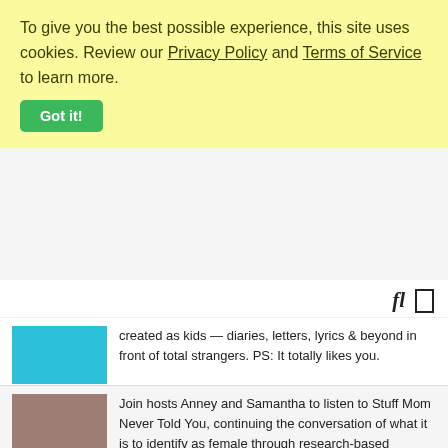To give you the best possible experience, this site uses cookies. Review our Privacy Policy and Terms of Service to learn more.
Got it!
created as kids — diaries, letters, lyrics & beyond in front of total strangers. PS: It totally likes you.
The Mortified Podcast is a proud member of Radiotopia, from PRX. Learn more at radiotopia.fm.
Join hosts Anney and Samantha to listen to Stuff Mom Never Told You, continuing the conversation of what it is to identify as female through research-based discussion around food, love, health, entertainment, and life…